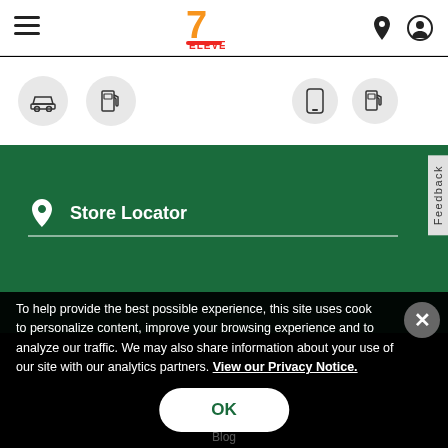[Figure (screenshot): 7-Eleven website header with hamburger menu, 7-Eleven logo, location pin icon, and user account icon]
[Figure (screenshot): Icon bar with car icon, gas pump icon (left), and phone icon, gas pump icon (right)]
[Figure (screenshot): Green Store Locator section with location pin icon and text input field]
To help provide the best possible experience, this site uses cookies to personalize content, improve your browsing experience and to analyze our traffic. We may also share information about your use of our site with our analytics partners. View our Privacy Notice.
OK